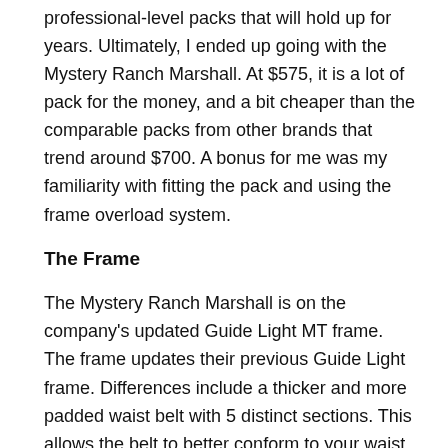professional-level packs that will hold up for years. Ultimately, I ended up going with the Mystery Ranch Marshall. At $575, it is a lot of pack for the money, and a bit cheaper than the comparable packs from other brands that trend around $700. A bonus for me was my familiarity with fitting the pack and using the frame overload system.
The Frame
The Mystery Ranch Marshall is on the company's updated Guide Light MT frame. The frame updates their previous Guide Light frame. Differences include a thicker and more padded waist belt with 5 distinct sections. This allows the belt to better conform to your waist which makes carrying heavy loads easier. There are also now Molle attachment points on the outside of the waist belt which makes it easy to attach extra pockets, bear spray, or other gear. The thin but durable external frame includes heavy-duty locking compression buckles and a load sling which allows the bag to pull off the frame creating an overload shelf between the